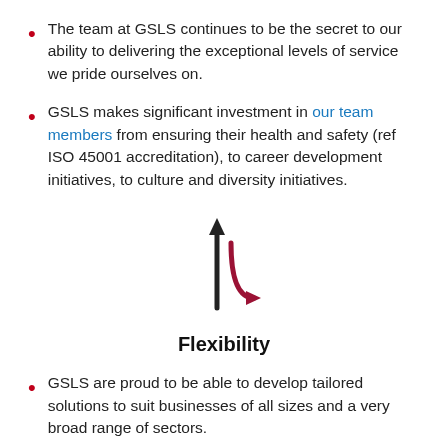The team at GSLS continues to be the secret to our ability to delivering the exceptional levels of service we pride ourselves on.
GSLS makes significant investment in our team members from ensuring their health and safety (ref ISO 45001 accreditation), to career development initiatives, to culture and diversity initiatives.
[Figure (illustration): Icon showing two arrows: a straight upward arrow (dark/black) and a curved arrow turning right (dark red/crimson), forming a flexibility/direction symbol.]
Flexibility
GSLS are proud to be able to develop tailored solutions to suit businesses of all sizes and a very broad range of sectors.